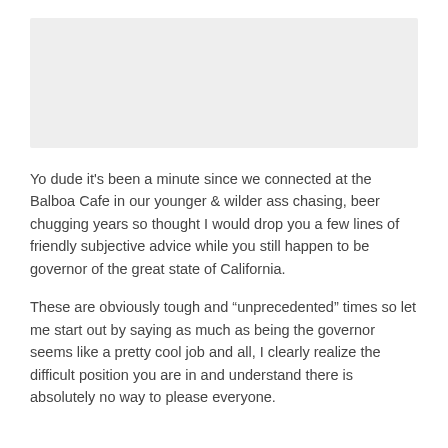[Figure (other): Light gray rectangular image placeholder at the top of the page]
Yo dude it's been a minute since we connected at the Balboa Cafe in our younger & wilder ass chasing, beer chugging years so thought I would drop you a few lines of friendly subjective advice while you still happen to be governor of the great state of California.
These are obviously tough and “unprecedented” times so let me start out by saying as much as being the governor seems like a pretty cool job and all, I clearly realize the difficult position you are in and understand there is absolutely no way to please everyone.